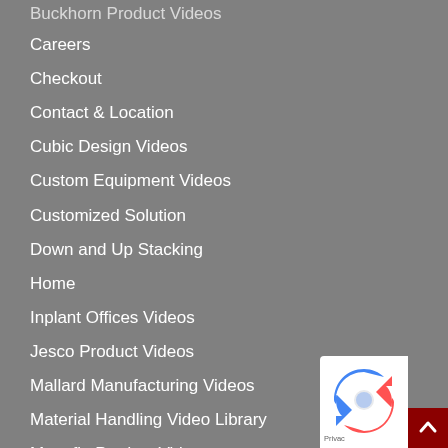Buckhorn Product Videos
Careers
Checkout
Contact & Location
Cubic Design Videos
Custom Equipment Videos
Customized Solution
Down and Up Stacking
Home
Inplant Offices Videos
Jesco Product Videos
Mallard Manufacturing Videos
Material Handling Video Library
Monoflo Product Videos
My account
Online Catalog
Presto Lifts Product Videos
[Figure (logo): reCAPTCHA badge with privacy text]